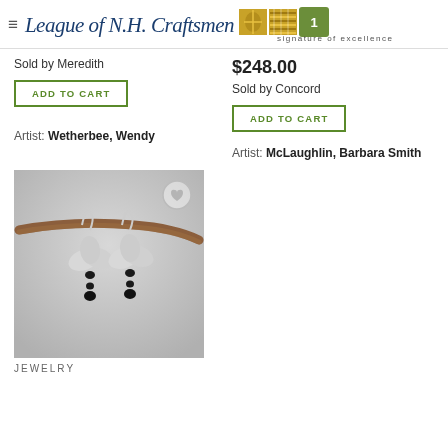League of N.H. Craftsmen — signature of excellence
Sold by Meredith
ADD TO CART
Artist: Wetherbee, Wendy
$248.00
Sold by Concord
ADD TO CART
Artist: McLaughlin, Barbara Smith
[Figure (photo): Silver flower earrings with black beads hanging from a wooden branch, on grey background]
JEWELRY